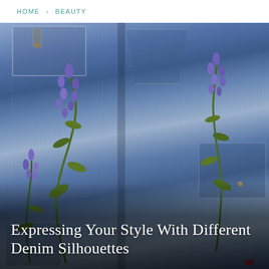HOME > BEAUTY
[Figure (photo): Close-up photograph of multiple overlapping denim jeans/jacket pieces with pockets visible, with purple lupine flowers emerging from the pockets and fabric, set against the blue-grey denim textile texture.]
Expressing Your Style With Different Denim Silhouettes